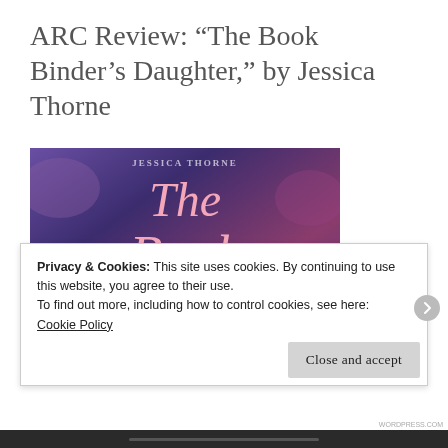ARC Review: “The Book Binder’s Daughter,” by Jessica Thorne
[Figure (photo): Book cover of 'The Book Binder's Daughter' by Jessica Thorne showing a woman's back with braided auburn hair wearing a white floral blouse and green apron, with pink cursive title text over a purple/blue forest background]
Privacy & Cookies: This site uses cookies. By continuing to use this website, you agree to their use.
To find out more, including how to control cookies, see here: Cookie Policy
Close and accept